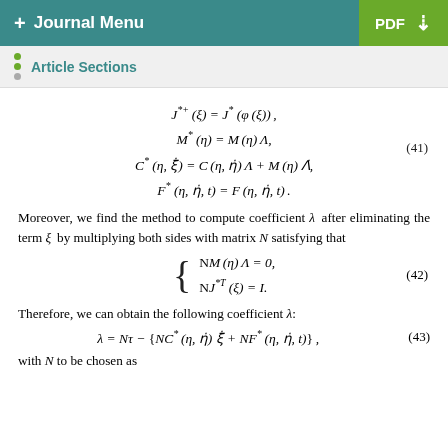+ Journal Menu  PDF ↓
Article Sections
Moreover, we find the method to compute coefficient λ after eliminating the term ξ by multiplying both sides with matrix N satisfying that
Therefore, we can obtain the following coefficient λ:
with N to be chosen as